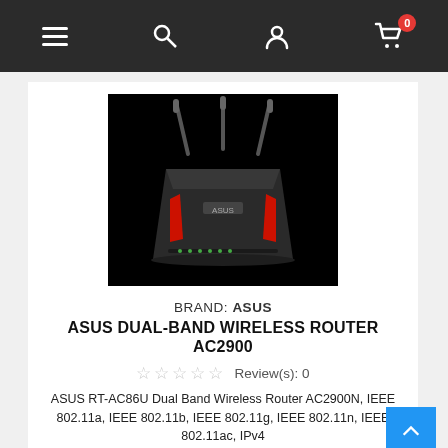Navigation bar with menu, search, user, and cart (0 items) icons
[Figure (photo): ASUS gaming router (RT-AC86U) with three antennas, black body with red accents, photographed against a black background]
BRAND: ASUS
ASUS DUAL-BAND WIRELESS ROUTER AC2900
☆☆☆☆☆ Review(s): 0
ASUS RT-AC86U Dual Band Wireless Router AC2900N, IEEE 802.11a, IEEE 802.11b, IEEE 802.11g, IEEE 802.11n, IEEE 802.11ac, IPv4